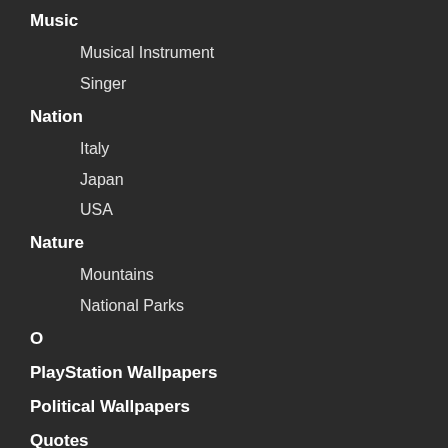Music
Musical Instrument
Singer
Nation
Italy
Japan
USA
Nature
Mountains
National Parks
O
PlayStation Wallpapers
Political Wallpapers
Quotes
February Quotes